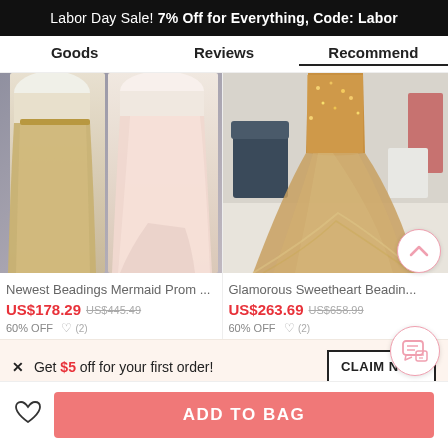Labor Day Sale! 7% Off for Everything, Code: Labor
Goods    Reviews    Recommend
[Figure (photo): Two women wearing mermaid-style prom dresses in champagne/blush satin, shown from torso to floor]
[Figure (photo): Woman wearing a glamorous sweetheart beaded ballgown in gold/champagne tulle, shown from torso to floor in a room]
Newest Beadings Mermaid Prom ...
US$178.29  US$445.49
60% OFF
Glamorous Sweetheart Beadin...
US$263.69  US$658.99
60% OFF
× Get $5 off for your first order!
CLAIM NOW
ADD TO BAG